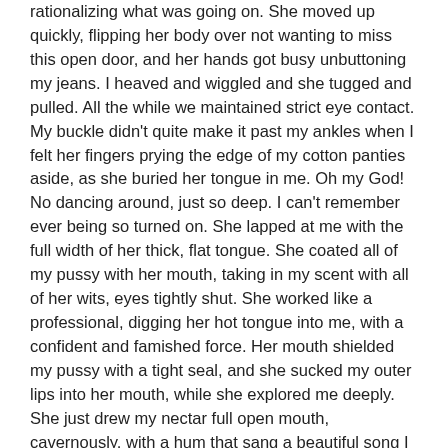rationalizing what was going on. She moved up quickly, flipping her body over not wanting to miss this open door, and her hands got busy unbuttoning my jeans. I heaved and wiggled and she tugged and pulled. All the while we maintained strict eye contact. My buckle didn't quite make it past my ankles when I felt her fingers prying the edge of my cotton panties aside, as she buried her tongue in me. Oh my God! No dancing around, just so deep. I can't remember ever being so turned on. She lapped at me with the full width of her thick, flat tongue. She coated all of my pussy with her mouth, taking in my scent with all of her wits, eyes tightly shut. She worked like a professional, digging her hot tongue into me, with a confident and famished force. Her mouth shielded my pussy with a tight seal, and she sucked my outer lips into her mouth, while she explored me deeply. She just drew my nectar full open mouth, cavernously, with a hum that sang a beautiful song I have never heard. Karen's curly and twisted blonde hair hid her face as it worked on me, but I could feel her mouth moving from side to side, and I could see her head shifting left then right and up through my thick pubic hair and down to my ass, forcing her nose into me at